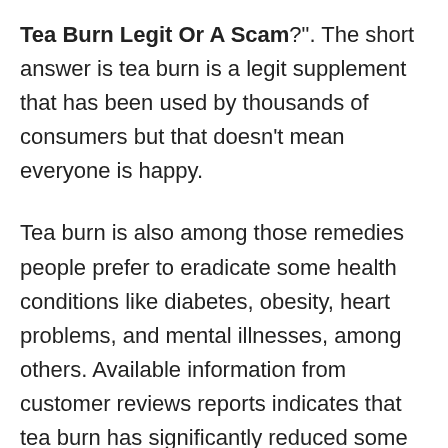Tea Burn Legit Or A Scam?". The short answer is tea burn is a legit supplement that has been used by thousands of consumers but that doesn't mean everyone is happy.
Tea burn is also among those remedies people prefer to eradicate some health conditions like diabetes, obesity, heart problems, and mental illnesses, among others. Available information from customer reviews reports indicates that tea burn has significantly reduced some of the issues listed.
It contains antioxidants and anti-inflammatory properties, helping in providing various health benefits. So far, manufacturers of the product use natural ingredients in the production. That makes it effective compared to other